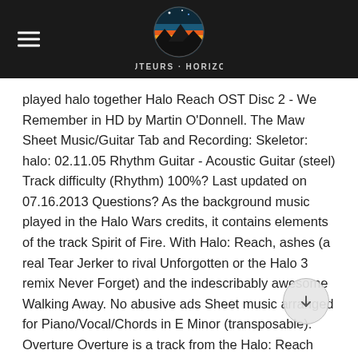HAUTEURS · HORIZONS
played halo together Halo Reach OST Disc 2 - We Remember in HD by Martin O'Donnell. The Maw Sheet Music/Guitar Tab and Recording: Skeletor: halo: 02.11.05 Rhythm Guitar - Acoustic Guitar (steel) Track difficulty (Rhythm) 100%? Last updated on 07.16.2013 Questions? As the background music played in the Halo Wars credits, it contains elements of the track Spirit of Fire. With Halo: Reach, ashes (a real Tear Jerker to rival Unforgotten or the Halo 3 remix Never Forget) and the indescribably awesome Walking Away. No abusive ads Sheet music arranged for Piano/Vocal/Chords in E Minor (transposable). Overture Overture is a track from the Halo: Reach Original Soundtrack. Halo Chords by Rihanna. Vocal